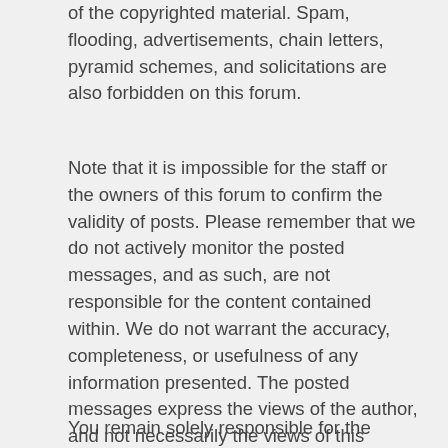of the copyrighted material. Spam, flooding, advertisements, chain letters, pyramid schemes, and solicitations are also forbidden on this forum.
Note that it is impossible for the staff or the owners of this forum to confirm the validity of posts. Please remember that we do not actively monitor the posted messages, and as such, are not responsible for the content contained within. We do not warrant the accuracy, completeness, or usefulness of any information presented. The posted messages express the views of the author, and not necessarily the views of this forum, its staff, its subsidiaries, or this forum's owner. Anyone who feels that a posted message is objectionable is encouraged to notify an administrator or moderator of this forum immediately. The staff and the owner of this forum reserve the right to remove objectionable content, within a reasonable time frame, if they determine that removal is necessary. This is a manual process, however, please realize that they may not be able to remove or edit particular messages immediately. This policy applies to member profile information as well.
You remain solely responsible for the content of your posted messages. Furthermore, you agree to indemnify and hold